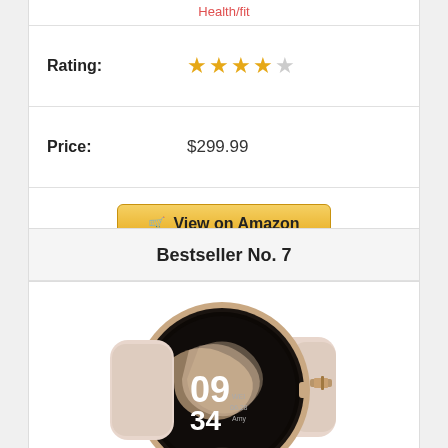Health/fit
Rating: ★★★★☆
Price: $299.99
View on Amazon
Bestseller No. 7
[Figure (photo): Smartwatch with rose gold case and light pink band, showing 09:34 on screen, reflected on white surface]